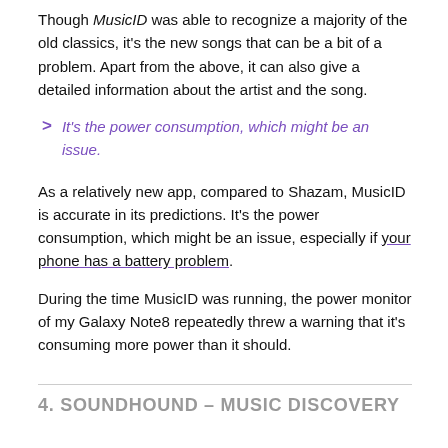Though MusicID was able to recognize a majority of the old classics, it's the new songs that can be a bit of a problem. Apart from the above, it can also give a detailed information about the artist and the song.
It's the power consumption, which might be an issue.
As a relatively new app, compared to Shazam, MusicID is accurate in its predictions. It's the power consumption, which might be an issue, especially if your phone has a battery problem.
During the time MusicID was running, the power monitor of my Galaxy Note8 repeatedly threw a warning that it's consuming more power than it should.
4. SOUNDHOUND – MUSIC DISCOVERY